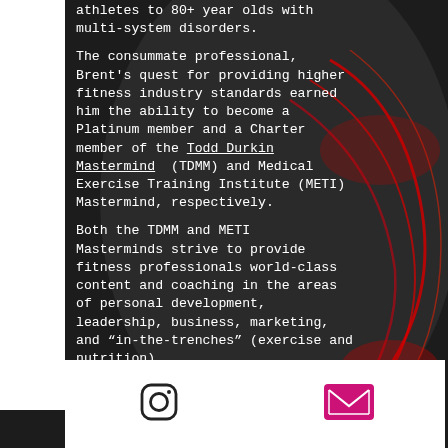athletes to 80+ year olds with multi-system disorders.
The consummate professional, Brent's quest for providing higher fitness industry standards earned him the ability to become a Platinum member and a Charter member of the Todd Durkin Mastermind (TDMM) and Medical Exercise Training Institute (METI) Mastermind, respectively.
Both the TDMM and METI Masterminds strive to provide fitness professionals world-class content and coaching in the areas of personal development, leadership, business, marketing, and "in-the-trenches" (exercise and nutrition)
[Figure (other): Instagram icon (outlined square with circle) and email icon (pink/magenta envelope) in a white bottom navigation bar]